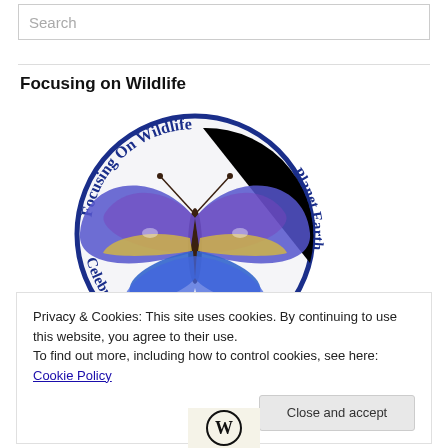Search
Focusing on Wildlife
[Figure (logo): Circular logo for 'Focusing On Wildlife - Celebrating Planet Earth' with a blue butterfly in the center]
Privacy & Cookies: This site uses cookies. By continuing to use this website, you agree to their use.
To find out more, including how to control cookies, see here: Cookie Policy
Close and accept